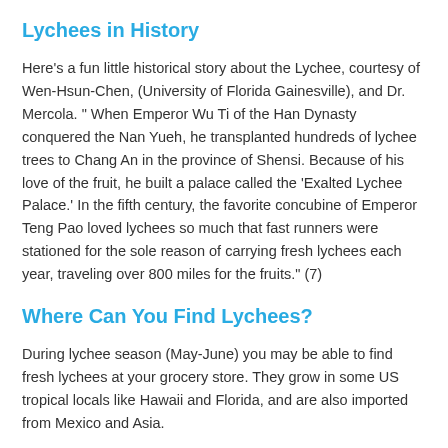Lychees in History
Here's a fun little historical story about the Lychee, courtesy of Wen-Hsun-Chen, (University of Florida Gainesville), and Dr. Mercola. " When Emperor Wu Ti of the Han Dynasty conquered the Nan Yueh, he transplanted hundreds of lychee trees to Chang An in the province of Shensi. Because of his love of the fruit, he built a palace called the 'Exalted Lychee Palace.' In the fifth century, the favorite concubine of Emperor Teng Pao loved lychees so much that fast runners were stationed for the sole reason of carrying fresh lychees each year, traveling over 800 miles for the fruits." (7)
Where Can You Find Lychees?
During lychee season (May-June) you may be able to find fresh lychees at your grocery store. They grow in some US tropical locals like Hawaii and Florida, and are also imported from Mexico and Asia.
If you can't find fresh lychees, you can definitely find canned lychees in the Asian isle of your grocery story, or at any Asian market. However, be aware that canned Lychees are usually preserved in sugar-water, making them much sweeter and